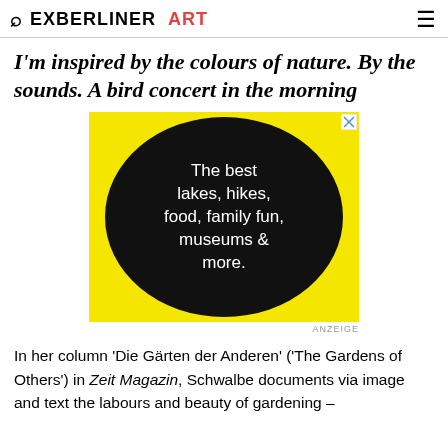EXBERLINER ART
I'm inspired by the colours of nature. By the sounds. A bird concert in the morning
[Figure (illustration): Advertisement banner with yellow background, large black circle containing white text: 'The best lakes, hikes, food, family fun, museums & more.']
ANZEIGE
In her column ‘Die Gärten der Anderen’ (‘The Gardens of Others’) in Zeit Magazin, Schwalbe documents via image and text the labours and beauty of gardening –